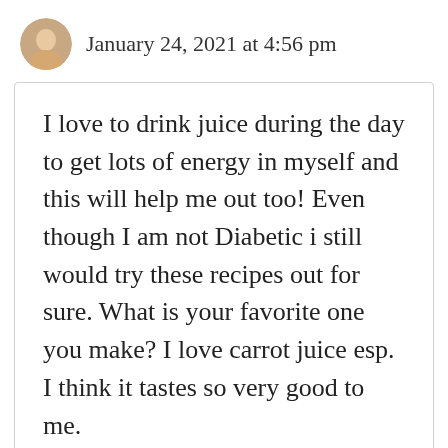January 24, 2021 at 4:56 pm
I love to drink juice during the day to get lots of energy in myself and this will help me out too! Even though I am not Diabetic i still would try these recipes out for sure. What is your favorite one you make? I love carrot juice esp. I think it tastes so very good to me.

Thanks for this very well written post! I will look at it for some more